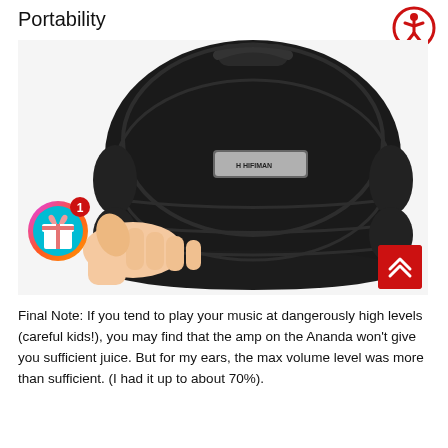Portability
[Figure (photo): A hand holding a large black hard-shell HIFIMAN headphone carrying case against a white background. The case is rounded and dome-shaped with ridged panels and a handle on top.]
Final Note: If you tend to play your music at dangerously high levels (careful kids!), you may find that the amp on the Ananda won't give you sufficient juice. But for my ears, the max volume level was more than sufficient. (I had it up to about 70%).